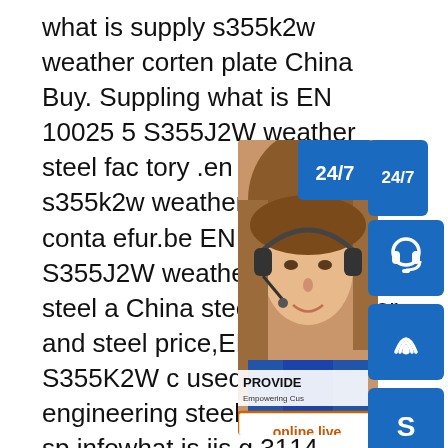what is supply s355k2w weather corten plate China Buy. Suppling what is EN 10025 5 S355J2W weather steel factory .en 10025 5 s355k2w weather steel for conta efur.be EN 10025 5 S355J2W weather plate BBN steel a China steel factory,offer and steel price,EN 10025 5 S355K2W c used in bridge engineering steel grade,c sp.infowhat is jis g 3114 sma400cp wea supplier Jis sma400cp corten steel with c ice for sale. JIS G 3114 SMA400CP cort inal factory price low price SA588 Grade A weather steel corten plate EN 10025-5 S355K2W corten steel with World-class sma490cp corten steel factory Find high quality and durable carbon steel plate,weather resistant steel plate,shipbuilding
[Figure (infographic): Customer service widget overlay showing a woman with headset, blue icon boxes with headset/phone/Skype icons, 24/7 label, PROVIDE Empowering Customers text, and orange online live button]